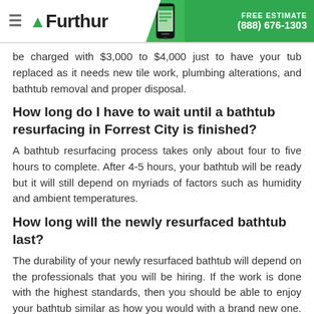Furthur | FREE ESTIMATE (888) 676-1303
be charged with $3,000 to $4,000 just to have your tub replaced as it needs new tile work, plumbing alterations, and bathtub removal and proper disposal.
How long do I have to wait until a bathtub resurfacing in Forrest City is finished?
A bathtub resurfacing process takes only about four to five hours to complete. After 4-5 hours, your bathtub will be ready but it will still depend on myriads of factors such as humidity and ambient temperatures.
How long will the newly resurfaced bathtub last?
The durability of your newly resurfaced bathtub will depend on the professionals that you will be hiring. If the work is done with the highest standards, then you should be able to enjoy your bathtub similar as how you would with a brand new one. Also,